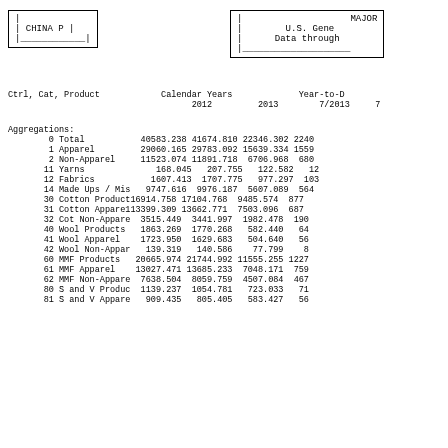CHINA P
MAJOR
U.S. Gene
Data through
Ctrl, Cat, Product    Calendar Years         Year-to-D
                      2012      2013       7/2013     7
|  | Ctrl, Cat, Product | 2012 | 2013 | 7/2013 | 7... |
| --- | --- | --- | --- | --- | --- |
| Aggregations: |  |  |  |  |  |
| 0 | Total | 40583.238 | 41674.810 | 22346.302 | 2240 |
| 1 | Apparel | 29060.165 | 29783.092 | 15639.334 | 1559 |
| 2 | Non-Apparel | 11523.074 | 11891.718 | 6706.968 | 680 |
| 11 | Yarns | 168.045 | 207.755 | 122.582 | 12 |
| 12 | Fabrics | 1607.413 | 1707.775 | 977.297 | 103 |
| 14 | Made Ups / Mis | 9747.616 | 9976.187 | 5607.089 | 564 |
| 30 | Cotton Product | 16914.758 | 17104.768 | 9485.574 | 877 |
| 31 | Cotton Appare | 13399.309 | 13662.771 | 7503.096 | 687 |
| 32 | Cot Non-Appare | 3515.449 | 3441.997 | 1982.478 | 190 |
| 40 | Wool Products | 1863.269 | 1770.268 | 582.440 | 64 |
| 41 | Wool Apparel | 1723.950 | 1629.683 | 504.640 | 56 |
| 42 | Wool Non-Appar | 139.319 | 140.586 | 77.799 | 8 |
| 60 | MMF Products | 20665.974 | 21744.992 | 11555.255 | 1227 |
| 61 | MMF Apparel | 13027.471 | 13685.233 | 7048.171 | 759 |
| 62 | MMF Non-Appare | 7638.504 | 8059.759 | 4507.084 | 467 |
| 80 | S and V Produc | 1139.237 | 1054.781 | 723.033 | 71 |
| 81 | S and V Appare | 909.435 | 805.405 | 583.427 | 56 |